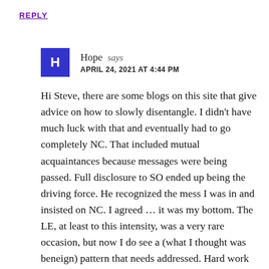REPLY
Hope says
APRIL 24, 2021 AT 4:44 PM
Hi Steve, there are some blogs on this site that give advice on how to slowly disentangle. I didn't have much luck with that and eventually had to go completely NC. That included mutual acquaintances because messages were being passed. Full disclosure to SO ended up being the driving force. He recognized the mess I was in and insisted on NC. I agreed … it was my bottom. The LE, at least to this intensity, was a very rare occasion, but now I do see a (what I thought was beneign) pattern that needs addressed. Hard work ahead, but I'm hoping the payoff will be